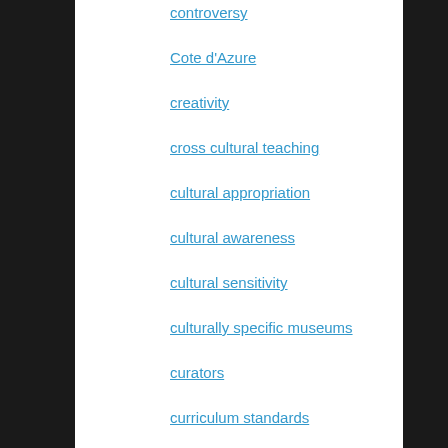controversy
Cote d'Azure
creativity
cross cultural teaching
cultural appropriation
cultural awareness
cultural sensitivity
culturally specific museums
curators
curriculum standards
Dana Mitroff Silvers
Design Thinking
designers
developmental research
digital humanities and compassion
diversity
diversity and inclusion